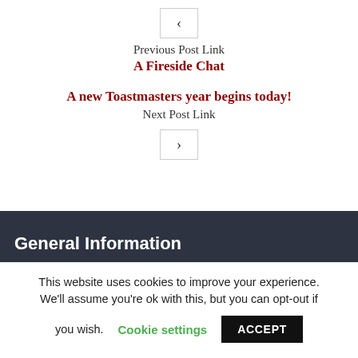[Figure (other): Previous navigation arrow button (left chevron in a bordered box)]
Previous Post Link
A Fireside Chat
A new Toastmasters year begins today!
Next Post Link
[Figure (other): Next navigation arrow button (right chevron in a bordered box)]
General Information
This website uses cookies to improve your experience. We'll assume you're ok with this, but you can opt-out if you wish. Cookie settings ACCEPT